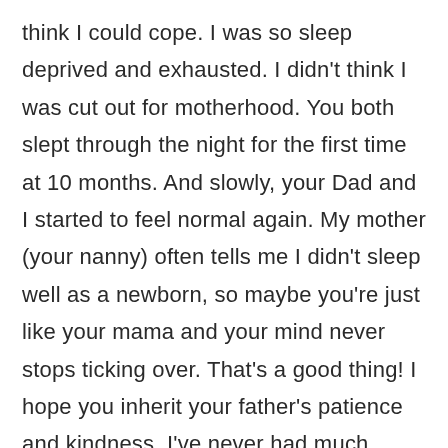think I could cope. I was so sleep deprived and exhausted. I didn't think I was cut out for motherhood. You both slept through the night for the first time at 10 months. And slowly, your Dad and I started to feel normal again. My mother (your nanny) often tells me I didn't sleep well as a newborn, so maybe you're just like your mama and your mind never stops ticking over. That's a good thing! I hope you inherit your father's patience and kindness. I've never had much patience. I hope you inherit my determination.

Lottie, after you arrived, I left my job in magazines